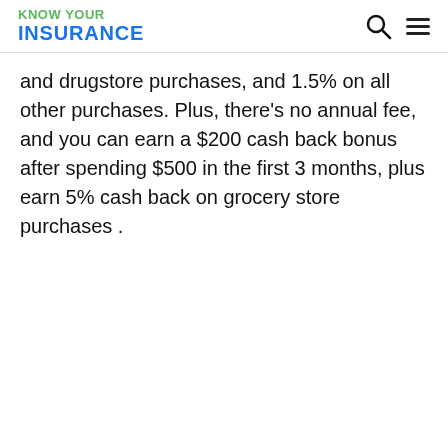KNOW YOUR INSURANCE
and drugstore purchases, and 1.5% on all other purchases. Plus, there's no annual fee, and you can earn a $200 cash back bonus after spending $500 in the first 3 months, plus earn 5% cash back on grocery store purchases .